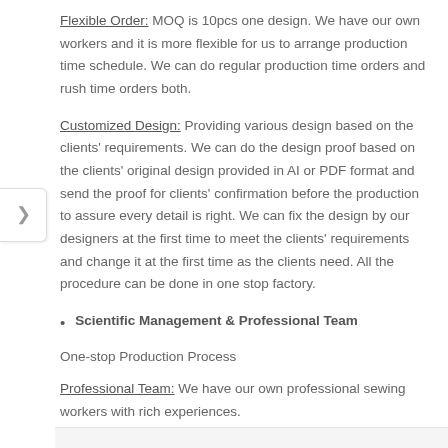Flexible Order: MOQ is 10pcs one design. We have our own workers and it is more flexible for us to arrange production time schedule. We can do regular production time orders and rush time orders both.
Customized Design: Providing various design based on the clients' requirements. We can do the design proof based on the clients' original design provided in AI or PDF format and send the proof for clients' confirmation before the production to assure every detail is right. We can fix the design by our designers at the first time to meet the clients' requirements and change it at the first time as the clients need. All the procedure can be done in one stop factory.
Scientific Management & Professional Team
One-stop Production Process
Professional Team: We have our own professional sewing workers with rich experiences.